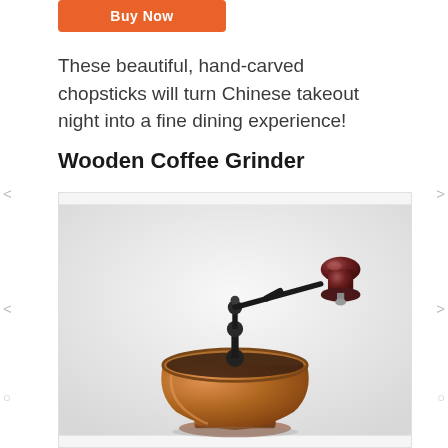[Figure (other): Orange 'Buy Now' button at top of page]
These beautiful, hand-carved chopsticks will turn Chinese takeout night into a fine dining experience!
Wooden Coffee Grinder
[Figure (photo): Photo of a wooden/copper manual coffee grinder with a dark wood knob handle on a metal arm, copper bowl body, and black grinding mechanism on top, set against a light gray/white background.]